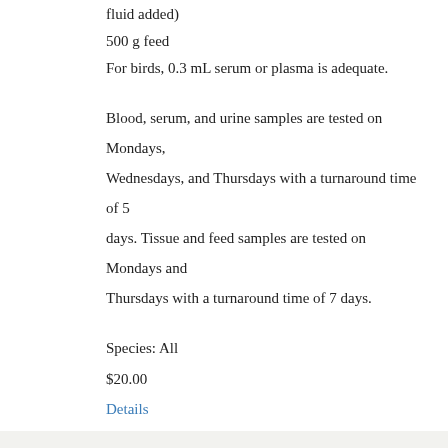fluid added)
500 g feed
For birds, 0.3 mL serum or plasma is adequate.
Blood, serum, and urine samples are tested on Mondays, Wednesdays, and Thursdays with a turnaround time of 5 days. Tissue and feed samples are tested on Mondays and Thursdays with a turnaround time of 7 days.
Species: All
$20.00
Details
Name: Salmonella Serogrouping (Agglutination)
Description: